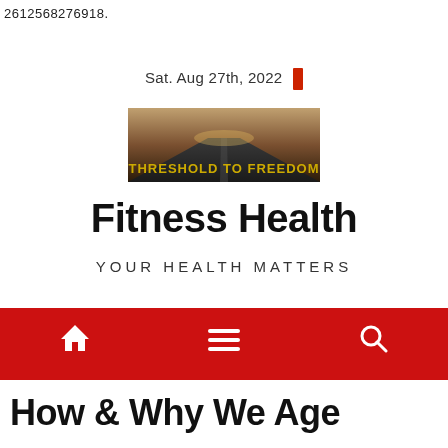2612568276918.
Sat. Aug 27th, 2022
[Figure (logo): Threshold to Freedom logo — dark road landscape with golden text reading THRESHOLD TO FREEDOM]
Fitness Health
YOUR HEALTH MATTERS
[Figure (infographic): Red navigation bar with home icon, hamburger menu icon, and search icon]
How & Why We Age